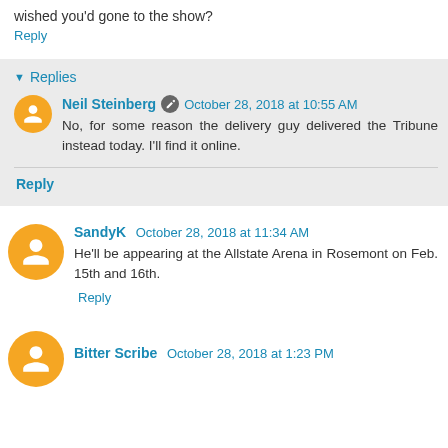wished you'd gone to the show?
Reply
Replies
Neil Steinberg  October 28, 2018 at 10:55 AM
No, for some reason the delivery guy delivered the Tribune instead today. I'll find it online.
Reply
SandyK  October 28, 2018 at 11:34 AM
He'll be appearing at the Allstate Arena in Rosemont on Feb. 15th and 16th.
Reply
Bitter Scribe  October 28, 2018 at 1:23 PM